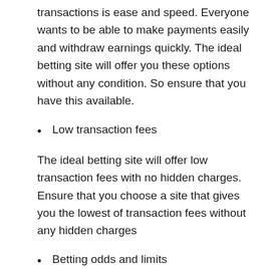transactions is ease and speed. Everyone wants to be able to make payments easily and withdraw earnings quickly. The ideal betting site will offer you these options without any condition. So ensure that you have this available.
Low transaction fees
The ideal betting site will offer low transaction fees with no hidden charges. Ensure that you choose a site that gives you the lowest of transaction fees without any hidden charges
Betting odds and limits
The ideal site would offer you satisfactory betting odds and betting limits. Nobody wants to get on a site that